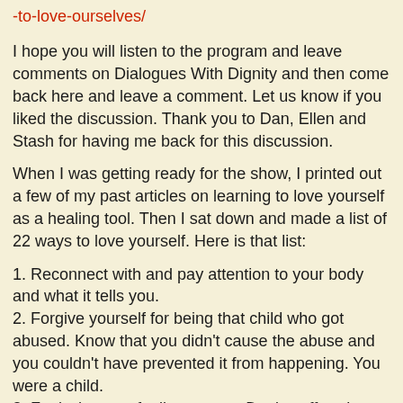-to-love-ourselves/
I hope you will listen to the program and leave comments on Dialogues With Dignity and then come back here and leave a comment. Let us know if you liked the discussion. Thank you to Dan, Ellen and Stash for having me back for this discussion.
When I was getting ready for the show, I printed out a few of my past articles on learning to love yourself as a healing tool. Then I sat down and made a list of 22 ways to love yourself. Here is that list:
1. Reconnect with and pay attention to your body and what it tells you.
2. Forgive yourself for being that child who got abused. Know that you didn't cause the abuse and you couldn't have prevented it from happening. You were a child.
3. Feel whatever feelings come. Don't stuff or deny their existence. That is how addictions start.
4. Learn how to take care of your needs and wants. You do